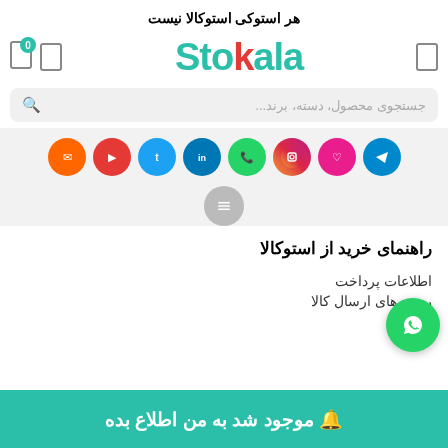هر استوکی استوکالا نیست
[Figure (logo): Stokala logo with teal and red colors]
[Figure (screenshot): Search box with Persian placeholder text: جستجوی محصول، دسته، برند...]
[Figure (infographic): Row of colorful social media icon circles: orange, red, Twitter blue, LinkedIn, WhatsApp green, Instagram gradient, pink, Telegram blue, with a gray toggle button below]
راهنمای خرید از استوکالا
اطلاعات پرداخت
روش های ارسال کالا
ضوابط
[Figure (illustration): WhatsApp floating action button (green circle with WhatsApp icon)]
🔔 موجود شد به من اطلاع بده